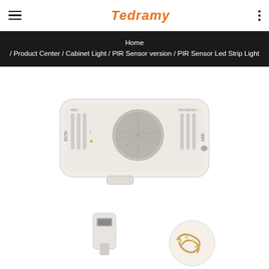Tedramy — navigation header with hamburger menu and dots menu
Home / Product Center / Cabinet Light / PIR Sensor version / PIR Sensor Led Strip Light
[Figure (photo): White PIR motion sensor LED controller device with adjustable sliders on top and a dome-shaped PIR sensor lens in the center. Labels on device show DC5V, LED, and slider controls for time and sensitivity settings.]
[Figure (photo): Circular thumbnail showing a white USB cable connector end.]
[Figure (photo): Circular thumbnail showing LED strip light coiled/rolled up with copper contacts visible.]